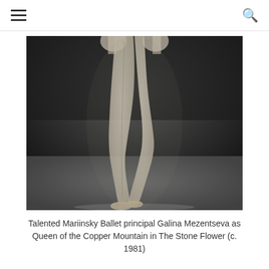hamburger menu | search icon
[Figure (photo): Black and white photograph showing a ballet dancer's legs en pointe on stage, with arms raised above. The dancer appears to be performing a jump or relevé. The background is dark stage lighting. The photo is cropped to show primarily the legs and pointe shoes.]
Talented Mariinsky Ballet principal Galina Mezentseva as Queen of the Copper Mountain in The Stone Flower (c. 1981)